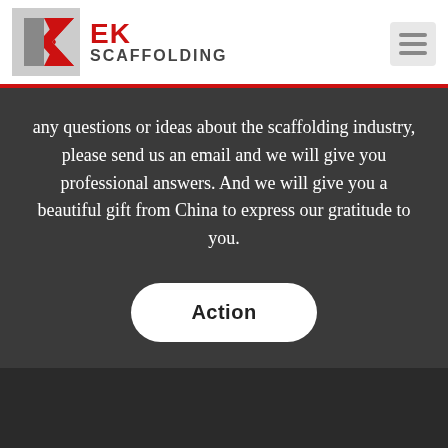EK SCAFFOLDING
any questions or ideas about the scaffolding industry, please send us an email and we will give you professional answers. And we will give you a beautiful gift from China to express our gratitude to you.
[Figure (other): Action button - white rounded rectangle button with bold text 'Action']
[Figure (other): Dark footer section with blue scroll-to-top button and green chat bubble icon, and a small registered trademark logo]